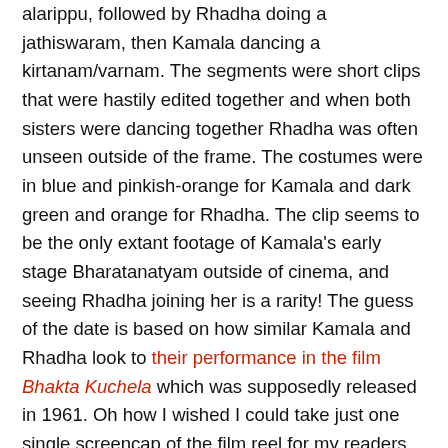alarippu, followed by Rhadha doing a jathiswaram, then Kamala dancing a kirtanam/varnam. The segments were short clips that were hastily edited together and when both sisters were dancing together Rhadha was often unseen outside of the frame. The costumes were in blue and pinkish-orange for Kamala and dark green and orange for Rhadha. The clip seems to be the only extant footage of Kamala's early stage Bharatanatyam outside of cinema, and seeing Rhadha joining her is a rarity! The guess of the date is based on how similar Kamala and Rhadha look to their performance in the film Bhakta Kuchela which was supposedly released in 1961. Oh how I wished I could take just one single screencap of the film reel for my readers, but recording and photography of any kind in the film viewing room was strictly prohibited.
The high I felt after happening onto such an amazing discovery was infinitely topped when I got to meet the great Kamala herself in person. Kamala graciously spoke to Ragothaman and